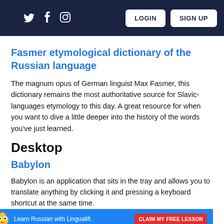LOGIN  SIGN UP
Fasmer etymological dictionary of the Russian language
The magnum opus of German linguist Max Fasmer, this dictionary remains the most authoritative source for Slavic-languages etymology to this day. A great resource for when you want to dive a little deeper into the history of the words you've just learned.
Desktop
Babylon
Babylon is an application that sits in the tray and allows you to translate anything by clicking it and pressing a keyboard shortcut at the same time.
Learn Russian with Lingualift  CLAIM MY FREE LESSON